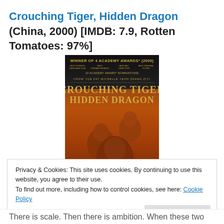Crouching Tiger, Hidden Dragon (China, 2000) [IMDB: 7.9, Rotten Tomatoes: 97%]
[Figure (photo): Movie poster for Crouching Tiger, Hidden Dragon. Dark background with gold text. Header reads 'WINNER OF 4 ACADEMY AWARDS (2000)' with categories listed and '10 ACADEMY AWARD NOMINATIONS'. Cast names: CHOW YUN FAT, MICHELLE YEOH, ZHANG ZIYI. Main title in large gold serif font: CROUCHING TIGER HIDDEN DRAGON. Three figures visible below the title.]
Privacy & Cookies: This site uses cookies. By continuing to use this website, you agree to their use.
To find out more, including how to control cookies, see here: Cookie Policy
There is scale. Then there is ambition. When these two